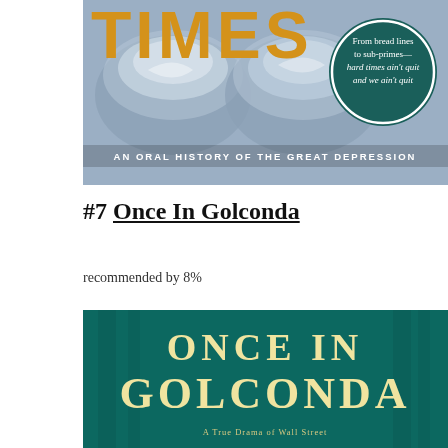[Figure (photo): Book cover of 'Hard Times: An Oral History of the Great Depression' showing two bowls on a blue-grey background, with the word TIMES in large gold letters at top. A dark teal circular badge reads 'From bread lines to sub-primes—hard times ain't quit and we ain't quit'. Subtitle: AN ORAL HISTORY OF THE GREAT DEPRESSION.]
#7 Once In Golconda
recommended by 8%
[Figure (photo): Book cover of 'Once In Golconda' with large cream/yellow bold text on a dark teal background.]